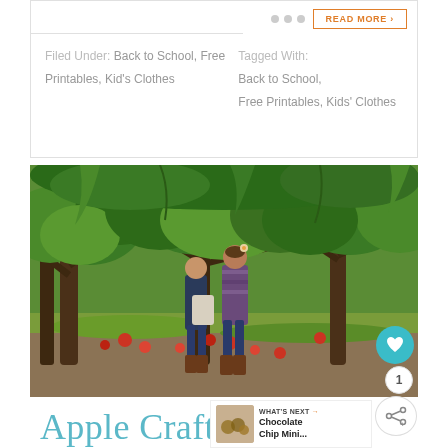Filed Under: Back to School, Free Printables, Kid's Clothes   Tagged With: Back to School, Free Printables, Kids' Clothes
[Figure (photo): Two children picking apples from trees in an apple orchard. Green leafy apple trees with apples on the ground. Outdoor setting with grass and dirt.]
WHAT'S NEXT → Chocolate Chip Mini...
Apple Crafts,